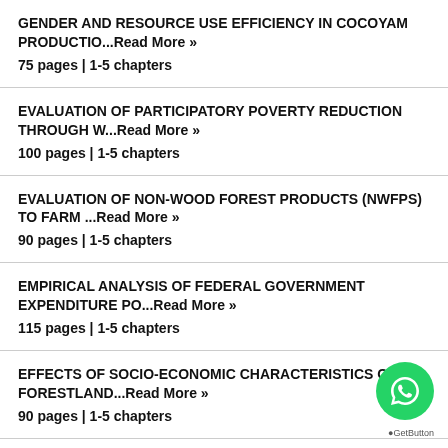GENDER AND RESOURCE USE EFFICIENCY IN COCOYAM PRODUCTIO...Read More »
75 pages | 1-5 chapters
EVALUATION OF PARTICIPATORY POVERTY REDUCTION THROUGH W...Read More »
100 pages | 1-5 chapters
EVALUATION OF NON-WOOD FOREST PRODUCTS (NWFPS) TO FARM ...Read More »
90 pages | 1-5 chapters
EMPIRICAL ANALYSIS OF FEDERAL GOVERNMENT EXPENDITURE PO...Read More »
115 pages | 1-5 chapters
EFFECTS OF SOCIO-ECONOMIC CHARACTERISTICS ON FORESTLAND...Read More »
90 pages | 1-5 chapters